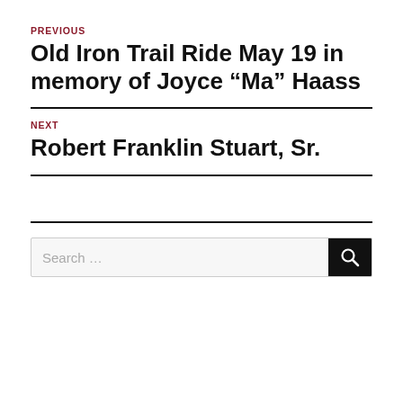PREVIOUS
Old Iron Trail Ride May 19 in memory of Joyce “Ma” Haass
NEXT
Robert Franklin Stuart, Sr.
Search …